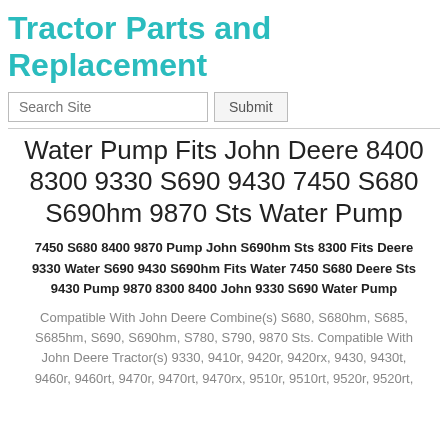Tractor Parts and Replacement
Search Site | Submit
Water Pump Fits John Deere 8400 8300 9330 S690 9430 7450 S680 S690hm 9870 Sts Water Pump
7450 S680 8400 9870 Pump John S690hm Sts 8300 Fits Deere 9330 Water S690 9430 S690hm Fits Water 7450 S680 Deere Sts 9430 Pump 9870 8300 8400 John 9330 S690 Water Pump
Compatible With John Deere Combine(s) S680, S680hm, S685, S685hm, S690, S690hm, S780, S790, 9870 Sts. Compatible With John Deere Tractor(s) 9330, 9410r, 9420r, 9420rx, 9430, 9430t, 9460r, 9460rt, 9470r, 9470rt, 9470rx, 9510r, 9510rt, 9520r, 9520rt,